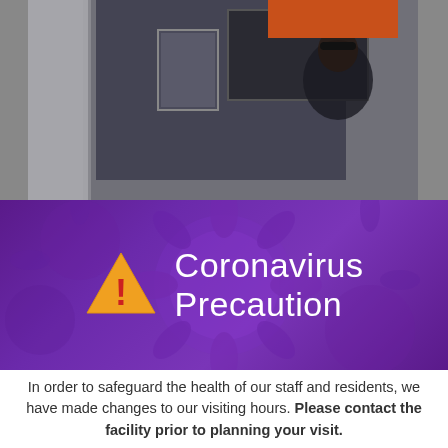[Figure (photo): Background photo of a person in a room with a TV screen showing an orange rectangle tab, partially obscured by overlapping content. Gray/darkened room interior visible behind purple banner.]
Coronavirus Precaution
In order to safeguard the health of our staff and residents, we have made changes to our visiting hours. Please contact the facility prior to planning your visit.
If you are experiencing any signs of